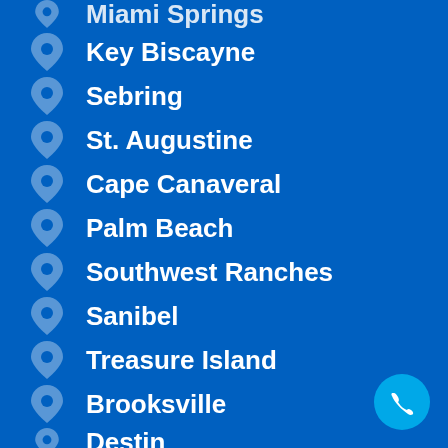Miami Springs
Key Biscayne
Sebring
St. Augustine
Cape Canaveral
Palm Beach
Southwest Ranches
Sanibel
Treasure Island
Brooksville
Destin